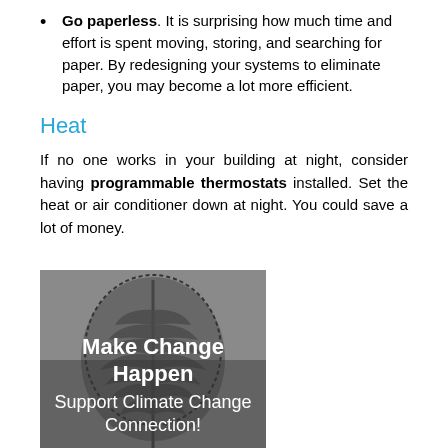Go paperless. It is surprising how much time and effort is spent moving, storing, and searching for paper. By redesigning your systems to eliminate paper, you may become a lot more efficient.
Heat
If no one works in your building at night, consider having programmable thermostats installed. Set the heat or air conditioner down at night. You could save a lot of money.
[Figure (photo): Black and white photo of a fern leaf with text overlay reading 'Make Change Happen Support Climate Change Connection!']